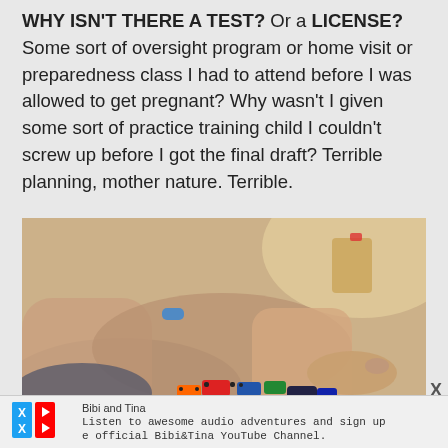WHY ISN'T THERE A TEST? Or a LICENSE? Some sort of oversight program or home visit or preparedness class I had to attend before I was allowed to get pregnant? Why wasn't I given some sort of practice training child I couldn't screw up before I got the final draft? Terrible planning, mother nature. Terrible.
[Figure (photo): Photo of adult and child sitting on the floor with toy cars; legs and hands visible, child wearing a blue bracelet]
X
Bibi and Tina
Listen to awesome audio adventures and sign up
e official Bibi&Tina YouTube Channel.